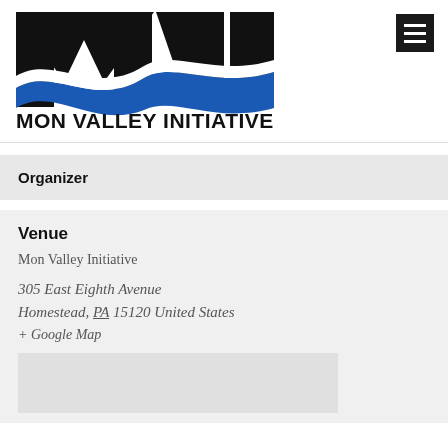[Figure (logo): Mon Valley Initiative logo — stylized MVI letters in black with blue wave/river design beneath, and 'MON VALLEY INITIATIVE' text in bold black below]
Organizer
Venue
Mon Valley Initiative
305 East Eighth Avenue
Homestead, PA 15120 United States
+ Google Map
[Figure (map): Embedded Google Map placeholder (light gray box)]